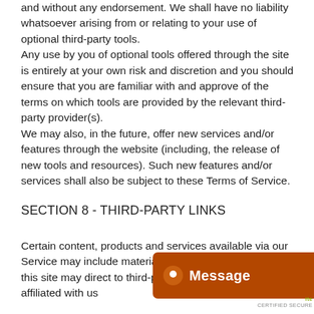and without any endorsement. We shall have no liability whatsoever arising from or relating to your use of optional third-party tools. Any use by you of optional tools offered through the site is entirely at your own risk and discretion and you should ensure that you are familiar with and approve of the terms on which tools are provided by the relevant third-party provider(s). We may also, in the future, offer new services and/or features through the website (including, the release of new tools and resources). Such new features and/or services shall also be subject to these Terms of Service.
SECTION 8 - THIRD-PARTY LINKS
Certain content, products and services available via our Service may include materia... Third-party links on this site ma... party websites that are not affiliated with us...